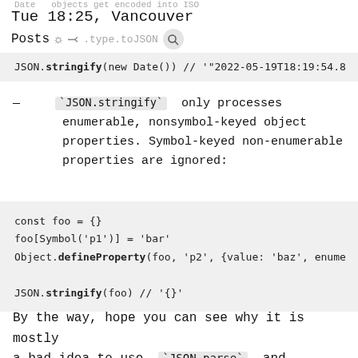Date   objects get encoded into ISO
Tue 18:25, Vancouver
Posts  ☀  ⌁  .type.toJSON   🔍
`JSON.stringify` only processes enumerable, nonsymbol-keyed object properties. Symbol-keyed non-enumerable properties are ignored:
By the way, hope you can see why it is mostly a bad idea to use `JSON.parse` and